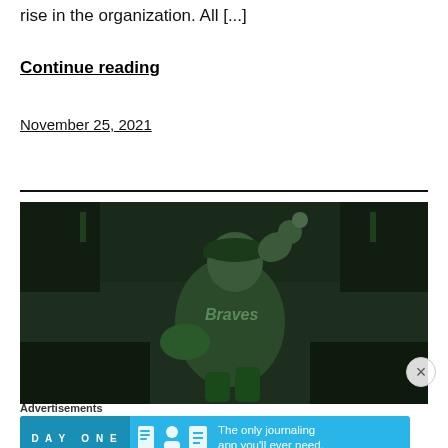rise in the organization. All [...]
Continue reading
November 25, 2021
[Figure (photo): A baseball pitcher in a Braves uniform mid-throw, photo with green tint overlay]
Advertisements
[Figure (screenshot): Day One journaling app advertisement banner: 'The only journaling app you'll ever need.']